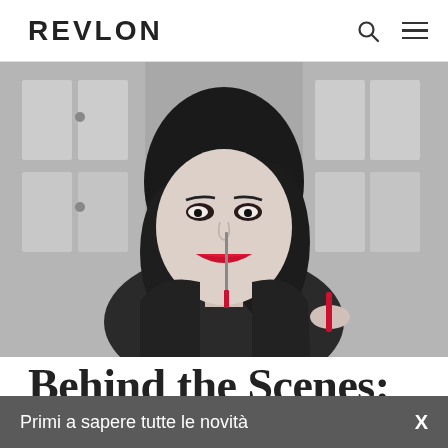REVLON
[Figure (photo): Woman with dark hair, red lipstick and a black top, applying lip gloss with a wand, smiling, photographed in black and white in front of a dark door]
Behind the Scenes:
Primi a sapere tutte le novità  X